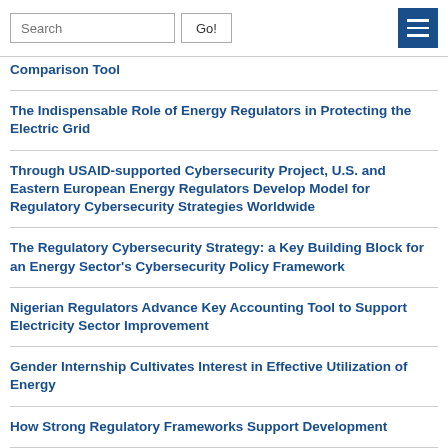Search | Go! | [menu]
Comparison Tool
The Indispensable Role of Energy Regulators in Protecting the Electric Grid
Through USAID-supported Cybersecurity Project, U.S. and Eastern European Energy Regulators Develop Model for Regulatory Cybersecurity Strategies Worldwide
The Regulatory Cybersecurity Strategy: a Key Building Block for an Energy Sector's Cybersecurity Policy Framework
Nigerian Regulators Advance Key Accounting Tool to Support Electricity Sector Improvement
Gender Internship Cultivates Interest in Effective Utilization of Energy
How Strong Regulatory Frameworks Support Development
The Practical Guide to Women in Energy Regulation